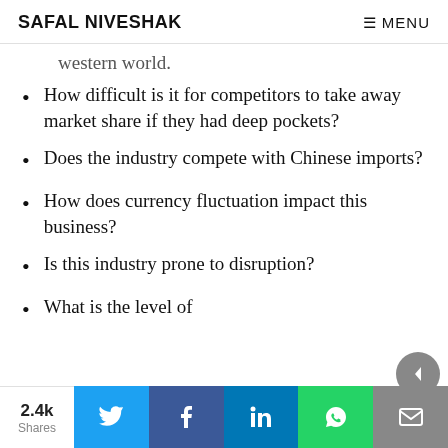SAFAL NIVESHAK    ☰ MENU
western world.
How difficult is it for competitors to take away market share if they had deep pockets?
Does the industry compete with Chinese imports?
How does currency fluctuation impact this business?
Is this industry prone to disruption?
What is the level of
2.4k Shares  [Twitter] [Facebook] [LinkedIn] [WhatsApp] [Email]